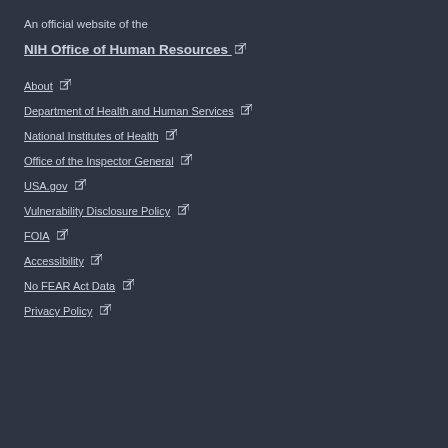An official website of the
NIH Office of Human Resources
About
Department of Health and Human Services
National Institutes of Health
Office of the Inspector General
USA.gov
Vulnerability Disclosure Policy
FOIA
Accessibility
No FEAR Act Data
Privacy Policy